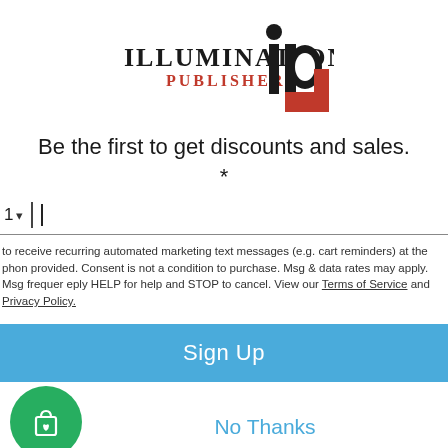[Figure (logo): Illumination Publishers logo with stylized 'ip' letters and text 'ILLUMINATION PUBLISHERS']
Be the first to get discounts and sales.
*
1 ▾  |  (phone number input field)
to receive recurring automated marketing text messages (e.g. cart reminders) at the phone provided. Consent is not a condition to purchase. Msg & data rates may apply. Msg frequently reply HELP for help and STOP to cancel. View our Terms of Service and Privacy Policy.
Sign Up
No Thanks